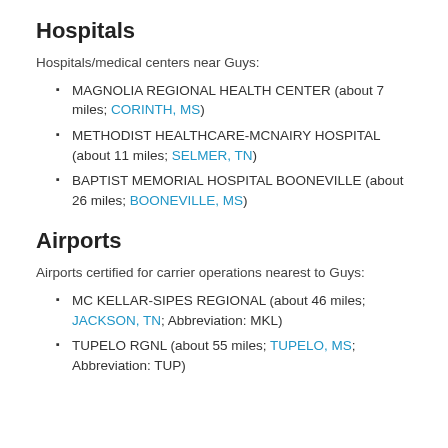Hospitals
Hospitals/medical centers near Guys:
MAGNOLIA REGIONAL HEALTH CENTER (about 7 miles; CORINTH, MS)
METHODIST HEALTHCARE-MCNAIRY HOSPITAL (about 11 miles; SELMER, TN)
BAPTIST MEMORIAL HOSPITAL BOONEVILLE (about 26 miles; BOONEVILLE, MS)
Airports
Airports certified for carrier operations nearest to Guys:
MC KELLAR-SIPES REGIONAL (about 46 miles; JACKSON, TN; Abbreviation: MKL)
TUPELO RGNL (about 55 miles; TUPELO, MS; Abbreviation: TUP)